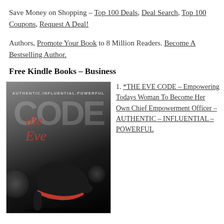Save Money on Shopping – Top 100 Deals, Deal Search, Top 100 Coupons, Request A Deal!
Authors, Promote Your Book to 8 Million Readers. Become A Bestselling Author.
Free Kindle Books – Business
[Figure (photo): Book cover for 'The Eve Code' featuring bold white/grey text, red script cursive title overlay, and a high-heel shoe with red sole at the bottom. Tagline: AUTHENTIC.INFLUENTIAL.POWERFUL]
*THE EVE CODE – Empowering Todays Woman To Become Her Own Chief Empowerment Officer – AUTHENTIC – INFLUENTIAL – POWERFUL